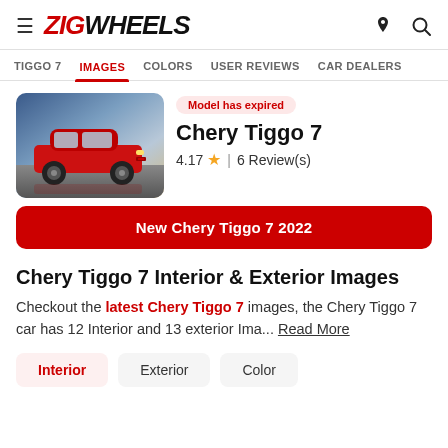ZigWheels navigation header with logo and icons
TIGGO 7 | IMAGES | COLORS | USER REVIEWS | CAR DEALERS
[Figure (photo): Chery Tiggo 7 red SUV car photo with dramatic sky background]
Model has expired
Chery Tiggo 7
4.17 ★ | 6 Review(s)
New Chery Tiggo 7 2022
Chery Tiggo 7 Interior & Exterior Images
Checkout the latest Chery Tiggo 7 images, the Chery Tiggo 7 car has 12 Interior and 13 exterior Ima... Read More
Interior
Exterior
Color